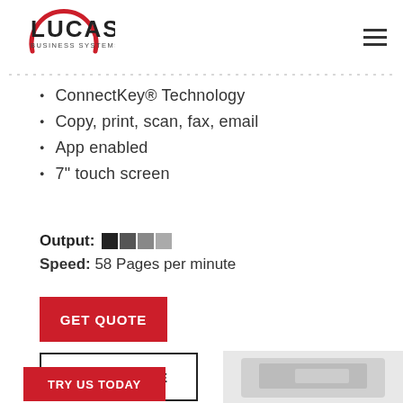[Figure (logo): Lucas Business Systems logo — red semicircle arc with LUCAS text in bold and BUSINESS SYSTEMS below]
ConnectKey® Technology
Copy, print, scan, fax, email
App enabled
7" touch screen
Output: [color blocks] Speed: 58 Pages per minute
GET QUOTE
LEARN MORE
TRY US TODAY
[Figure (photo): Partial view of a printer/copier device in greyscale at the bottom right of the page]